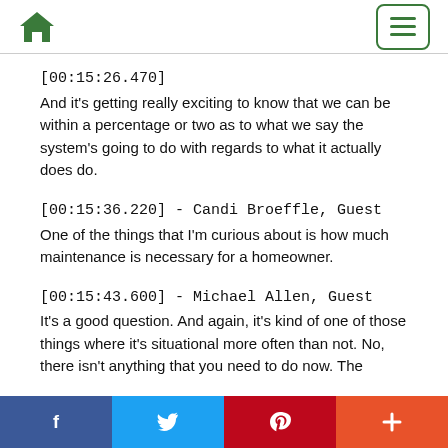Home icon and menu button
[00:15:26.470]
And it's getting really exciting to know that we can be within a percentage or two as to what we say the system's going to do with regards to what it actually does do.
[00:15:36.220] - Candi Broeffle, Guest
One of the things that I'm curious about is how much maintenance is necessary for a homeowner.
[00:15:43.600] - Michael Allen, Guest
It's a good question. And again, it's kind of one of those things where it's situational more often than not. No, there isn't anything that you need to do now. The
Facebook  Twitter  Pinterest  Plus